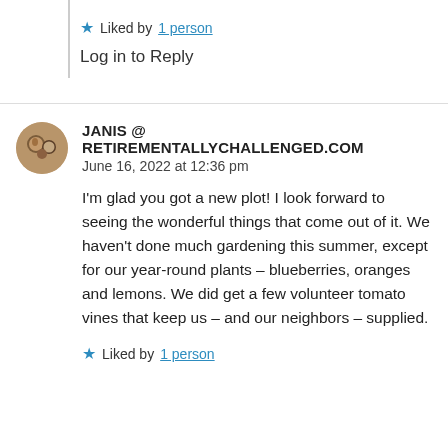★ Liked by 1 person
Log in to Reply
JANIS @ RETIREMENTALLYCHALLENGED.COM
June 16, 2022 at 12:36 pm
I'm glad you got a new plot! I look forward to seeing the wonderful things that come out of it. We haven't done much gardening this summer, except for our year-round plants – blueberries, oranges and lemons. We did get a few volunteer tomato vines that keep us – and our neighbors – supplied.
★ Liked by 1 person